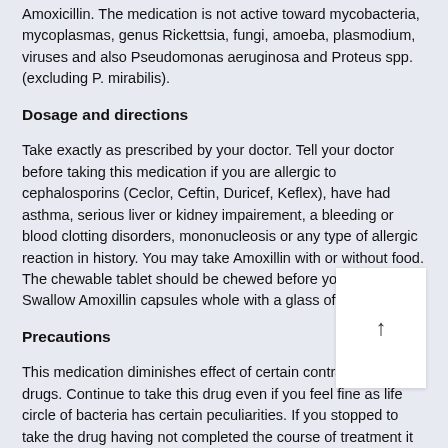Amoxicillin. The medication is not active toward mycobacteria, mycoplasmas, genus Rickettsia, fungi, amoeba, plasmodium, viruses and also Pseudomonas aeruginosa and Proteus spp. (excluding P. mirabilis).
Dosage and directions
Take exactly as prescribed by your doctor. Tell your doctor before taking this medication if you are allergic to cephalosporins (Ceclor, Ceftin, Duricef, Keflex), have had asthma, serious liver or kidney impairement, a bleeding or blood clotting disorders, mononucleosis or any type of allergic reaction in history. You may take Amoxillin with or without food. The chewable tablet should be chewed before you swallow it. Swallow Amoxillin capsules whole with a glass of water.
Precautions
This medication diminishes effect of certain contraception drugs. Continue to take this drug even if you feel fine as life circle of bacteria has certain peculiarities. If you stopped to take the drug having not completed the course of treatment it may result in their further propagation and producing of strains resistant to this medication. Do not give this drug to the have similar symptoms as their illness maybe provoked by other microorganisms. Antibiotic medicines can cause diarrhea, inform y if you have it. If you breastfeed and take Amoxicillin, the medication may excrete in milk and cause diarrhea in your baby. Warn your doctor if you